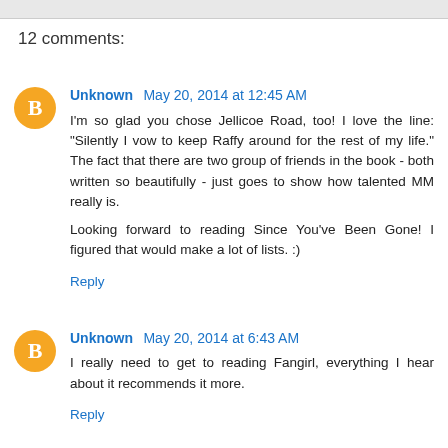12 comments:
Unknown May 20, 2014 at 12:45 AM
I'm so glad you chose Jellicoe Road, too! I love the line: "Silently I vow to keep Raffy around for the rest of my life." The fact that there are two group of friends in the book - both written so beautifully - just goes to show how talented MM really is.

Looking forward to reading Since You've Been Gone! I figured that would make a lot of lists. :)
Reply
Unknown May 20, 2014 at 6:43 AM
I really need to get to reading Fangirl, everything I hear about it recommends it more.
Reply